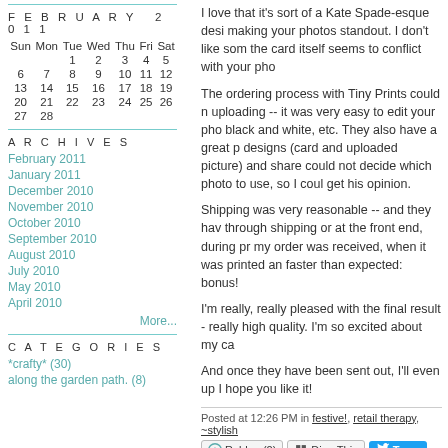FEBRUARY 2011
| Sun | Mon | Tue | Wed | Thu | Fri | Sat |
| --- | --- | --- | --- | --- | --- | --- |
|  |  | 1 | 2 | 3 | 4 | 5 |
| 6 | 7 | 8 | 9 | 10 | 11 | 12 |
| 13 | 14 | 15 | 16 | 17 | 18 | 19 |
| 20 | 21 | 22 | 23 | 24 | 25 | 26 |
| 27 | 28 |  |  |  |  |  |
ARCHIVES
February 2011
January 2011
December 2010
November 2010
October 2010
September 2010
August 2010
July 2010
May 2010
April 2010
More...
CATEGORIES
*crafty* (30)
along the garden path. (8)
I love that it's sort of a Kate Spade-esque desi making your photos standout. I don't like som the card itself seems to conflict with your pho
The ordering process with Tiny Prints could n uploading -- it was very easy to edit your pho black and white, etc. They also have a great p designs (card and uploaded picture) and share could not decide which photo to use, so I coul get his opinion.
Shipping was very reasonable -- and they hav through shipping or at the front end, during pr my order was received, when it was printed an faster than expected: bonus!
I'm really, really pleased with the final result - really high quality. I'm so excited about my ca
And once they have been sent out, I'll even up I hope you like it!
Posted at 12:26 PM in festive!, retail therapy, ~stylish
Comments